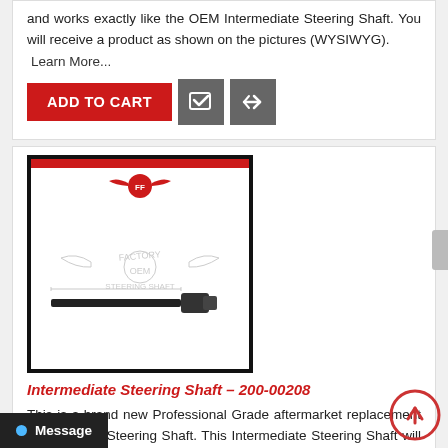and works exactly like the OEM Intermediate Steering Shaft. You will receive a product as shown on the pictures (WYSIWYG).
Learn More...
ADD TO CART
[Figure (photo): Product image of Intermediate Steering Shaft 200-00208 with brand logo watermark on white background with black border and red stripe]
Intermediate Steering Shaft – 200-00208
This is a brand new Professional Grade aftermarket replacement Intermediate Steering Shaft. This Intermediate Steering Shaft will fit exactly like the OEM Intermediate Steering Shaft. You will receive a product as